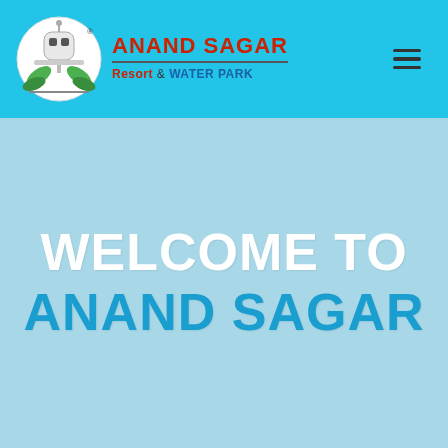[Figure (logo): Anand Sagar Resort & Water Park logo with bird/peacock icon and green leaves, header navigation bar with brand name in red and subtitle in red/blue, hamburger menu icon on right]
WELCOME TO ANAND SAGAR